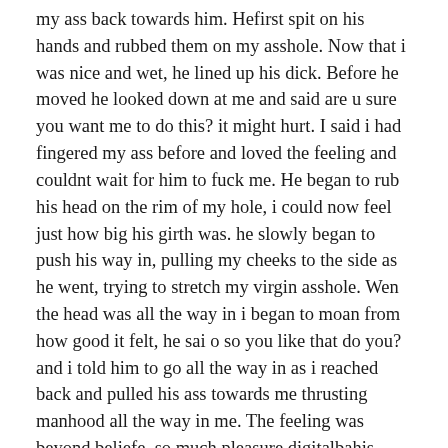my ass back towards him. Hefirst spit on his hands and rubbed them on my asshole. Now that i was nice and wet, he lined up his dick. Before he moved he looked down at me and said are u sure you want me to do this? it might hurt. I said i had fingered my ass before and loved the feeling and couldnt wait for him to fuck me. He began to rub his head on the rim of my hole, i could now feel just how big his girth was. he slowly began to push his way in, pulling my cheeks to the side as he went, trying to stretch my virgin asshole. Wen the head was all the way in i began to moan from how good it felt, he sai o so you like that do you? and i told him to go all the way in as i reached back and pulled his ass towards me thrusting manhood all the way in me. The feeling was beyond beliefe, so much pleasure digitalbahis güvenilirmi mixed with a little pain made for an unbelieveable feeling. As he began to pump my asshole he leaned between my legs and leaned up to meet his lips. So there i was mith one of my best friends dicks all the way inside me and his tongue shoved down my throat. He continued to rail me for about 5 minutes before he said he was getting really close to cumming, i told him to